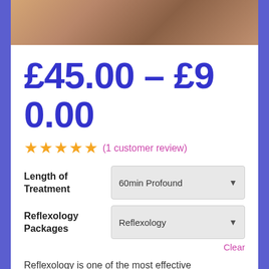[Figure (photo): Close-up photo of a hand or feet used for reflexology treatment, shown at top of product card]
£45.00 – £90.00
★★★★★ (1 customer review)
Length of Treatment  |  60min Profound ▼
Reflexology Packages  |  Reflexology ▼  Clear
Reflexology is one of the most effective